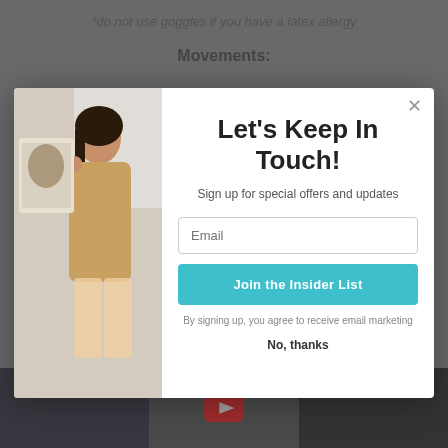*do not use goggles if you have a latex allergy
Movements:
[Figure (photo): Web page screenshot showing a popup modal overlay on a fitness/beauty website. Background shows page content with a footnote and 'Movements:' heading. Bottom shows video thumbnails. The modal has a left panel with a photo of a woman holding a product, and a right panel with a newsletter signup form.]
Let's Keep In Touch!
Sign up for special offers and updates
Email
Join the Insider List
By signing up, you agree to receive email marketing
No, thanks